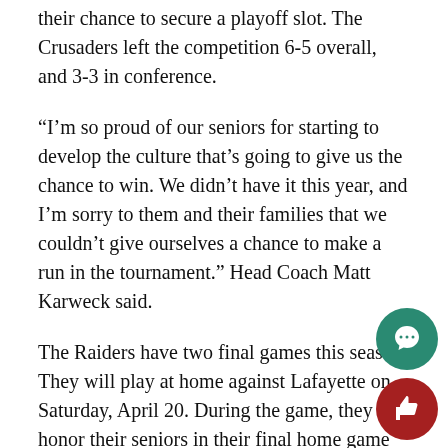their chance to secure a playoff slot. The Crusaders left the competition 6-5 overall, and 3-3 in conference.
“I’m so proud of our seniors for starting to develop the culture that’s going to give us the chance to win. We didn’t have it this year, and I’m sorry to them and their families that we couldn’t give ourselves a chance to make a run in the tournament.” Head Coach Matt Karweck said.
The Raiders have two final games this season. They will play at home against Lafayette on Saturday, April 20. During the game, they will honor their seniors in their final home game of the year. The team will then travel to Bucknell University to face the Bison on Friday, April 26.
“Now for the next two weeks, we have a choice. We can back to the way it was, or we are the team that we talk about being every day, by challenging ourselves to go out of the way to accomplish a particular task, whatever it may be, the challenge for them is to lead over the next weeks when